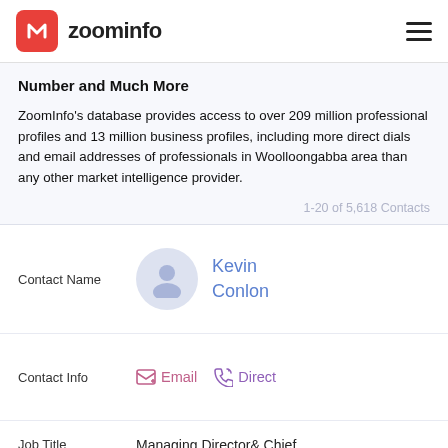zoominfo
Number and Much More
ZoomInfo's database provides access to over 209 million professional profiles and 13 million business profiles, including more direct dials and email addresses of professionals in Woolloongabba area than any other market intelligence provider.
1-20 of 5,618 Contacts
Contact Name
Kevin Conlon
Contact Info
Email   Direct
Job Title
Managing Director & Chief Executive Officer